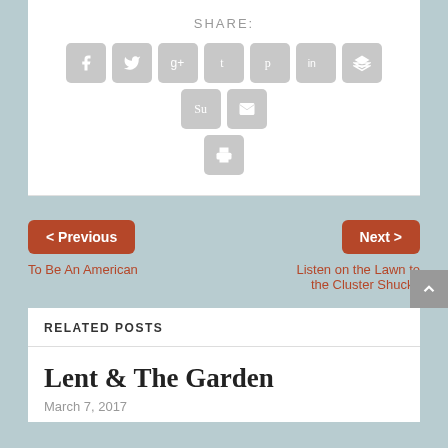SHARE:
[Figure (infographic): Row of social share icon buttons: Facebook, Twitter, Google+, Tumblr, Pinterest, LinkedIn, Buffer, StumbleUpon, Email, Print]
< Previous
To Be An American
Next >
Listen on the Lawn to the Cluster Shucks
RELATED POSTS
Lent & The Garden
March 7, 2017